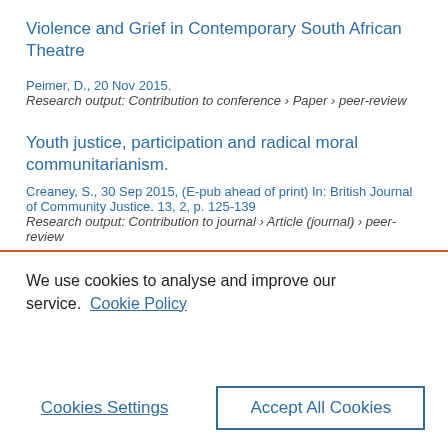Violence and Grief in Contemporary South African Theatre
Peimer, D., 20 Nov 2015.
Research output: Contribution to conference › Paper › peer-review
Youth justice, participation and radical moral communitarianism.
Creaney, S., 30 Sep 2015, (E-pub ahead of print) In: British Journal of Community Justice. 13, 2, p. 125-139
Research output: Contribution to journal › Article (journal) › peer-review
We use cookies to analyse and improve our service.  Cookie Policy
Cookies Settings
Accept All Cookies